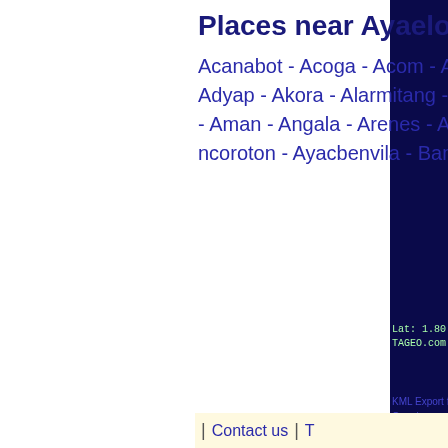Places near Ayaelon
Acanabot - Acoga - Acom - Aconikie - Adyap - Akora - Alarmitang - Alena - Alum - Aman - Angala - Arenes - Arroyo ncoroton - Ayacbenvila - Bama -
[Figure (screenshot): Lat: 1.80... TAGEO.com label on dark navy background]
KML Export for Google maps v Google links fo
| Contact us |  T